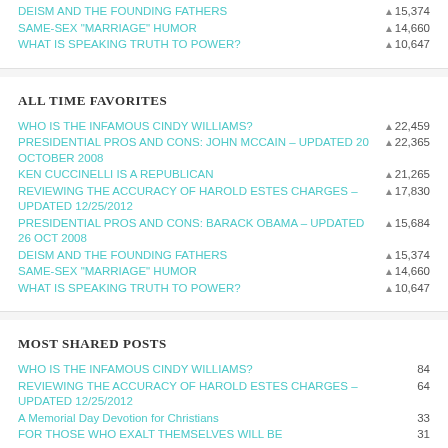DEISM AND THE FOUNDING FATHERS — 15,374
SAME-SEX "MARRIAGE" HUMOR — 14,660
WHAT IS SPEAKING TRUTH TO POWER? — 10,647
ALL TIME FAVORITES
WHO IS THE INFAMOUS CINDY WILLIAMS? — 22,459
PRESIDENTIAL PROS AND CONS: JOHN MCCAIN – Updated 20 October 2008 — 22,365
KEN CUCCINELLI IS A REPUBLICAN — 21,265
REVIEWING THE ACCURACY OF HAROLD ESTES CHARGES – UPDATED 12/25/2012 — 17,830
PRESIDENTIAL PROS AND CONS: BARACK OBAMA – Updated 26 Oct 2008 — 15,684
DEISM AND THE FOUNDING FATHERS — 15,374
SAME-SEX "MARRIAGE" HUMOR — 14,660
WHAT IS SPEAKING TRUTH TO POWER? — 10,647
MOST SHARED POSTS
WHO IS THE INFAMOUS CINDY WILLIAMS? — 84
REVIEWING THE ACCURACY OF HAROLD ESTES CHARGES – UPDATED 12/25/2012 — 64
A Memorial Day Devotion for Christians — 33
FOR THOSE WHO EXALT THEMSELVES WILL BE — 31